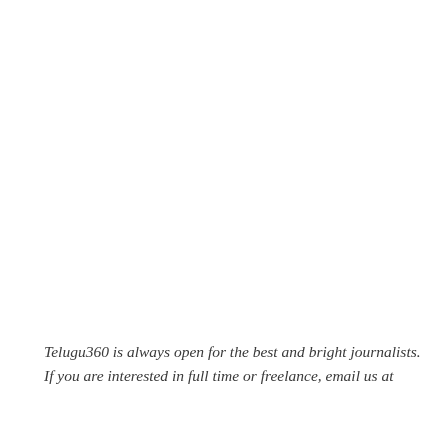Telugu360 is always open for the best and bright journalists. If you are interested in full time or freelance, email us at
If you are interested in full time or freelance, email us at